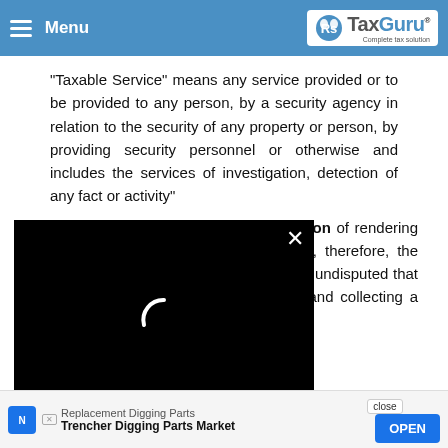Menu | TaxGuru - Complete tax solution
"agency" is defined in Section 65(105)(w) of the Finance Act as under:
“Taxable Service” means any service provided or to be provided to any person, by a security agency in relation to the security of any property or person, by providing security personnel or otherwise and includes the services of investigation, detection of any fact or activity”
Revenue that the term “” covers any person of rendering the services relating to the security and, therefore, the appellant is covered by this definition. It is undisputed that the appellant was providing the service and collecting a consideration for the term “security” commercial
[Figure (screenshot): Black video loading overlay with white spinner/loading arc and close (X) button]
Replacement Digging Parts
Trencher Digging Parts Market
close | OPEN